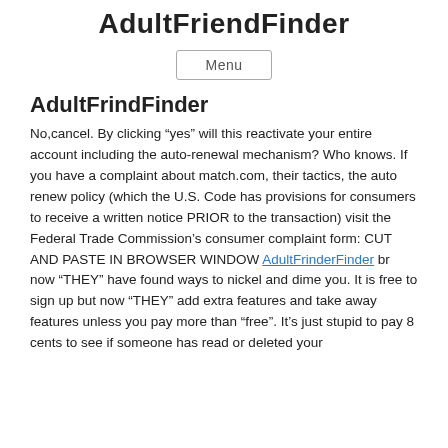AdultFriendFinder
Menu
AdultFrindFinder
No,cancel. By clicking “yes” will this reactivate your entire account including the auto-renewal mechanism? Who knows. If you have a complaint about match.com, their tactics, the auto renew policy (which the U.S. Code has provisions for consumers to receive a written notice PRIOR to the transaction) visit the Federal Trade Commission’s consumer complaint form: CUT AND PASTE IN BROWSER WINDOW AdultFrinderFinder br now “THEY” have found ways to nickel and dime you. It is free to sign up but now “THEY” add extra features and take away features unless you pay more than “free”. It’s just stupid to pay 8 cents to see if someone has read or deleted your